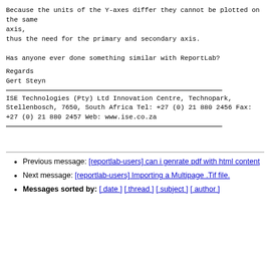Because the units of the Y-axes differ they cannot be plotted on the same axis,
thus the need for the primary and secondary axis.

Has anyone ever done something similar with ReportLab?
Regards
Gert Steyn
ISE Technologies (Pty) Ltd
Innovation Centre, Technopark,
Stellenbosch, 7650, South Africa
Tel: +27 (0) 21 880 2456
Fax: +27 (0) 21 880 2457
Web: www.ise.co.za
Previous message: [reportlab-users] can i genrate pdf with html content
Next message: [reportlab-users] Importing a Multipage .Tif file.
Messages sorted by: [ date ] [ thread ] [ subject ] [ author ]